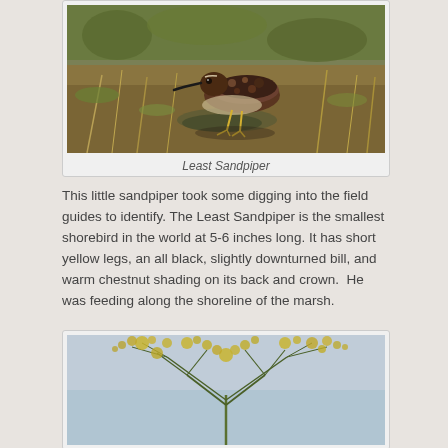[Figure (photo): A Least Sandpiper bird standing on muddy ground covered with dried grass and vegetation, feeding.]
Least Sandpiper
This little sandpiper took some digging into the field guides to identify. The Least Sandpiper is the smallest shorebird in the world at 5-6 inches long. It has short yellow legs, an all black, slightly downturned bill, and warm chestnut shading on its back and crown.  He was feeding along the shoreline of the marsh.
[Figure (photo): A flowering plant with clusters of small yellow-green flowers on thin branching stems against a light blue sky background.]